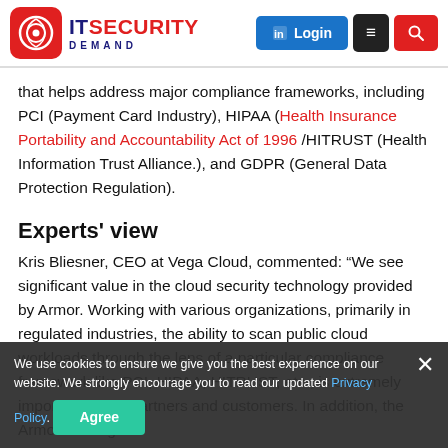IT Security Demand — Login, Menu, Search
that helps address major compliance frameworks, including PCI (Payment Card Industry), HIPAA (Health Insurance Portability and Accountability Act of 1996 /HITRUST (Health Information Trust Alliance.), and GDPR (General Data Protection Regulation).
Experts' view
Kris Bliesner, CEO at Vega Cloud, commented: “We see significant value in the cloud security technology provided by Armor. Working with various organizations, primarily in regulated industries, the ability to scan public cloud workloads through the lens of a particular compliance framework like PCI, HIPAA, HITRUST, etc., is extremely important to our partners and customers. In addition, the Armor offering
We use cookies to ensure we give you the best experience on our website. We strongly encourage you to read our updated Privacy Policy. Agree